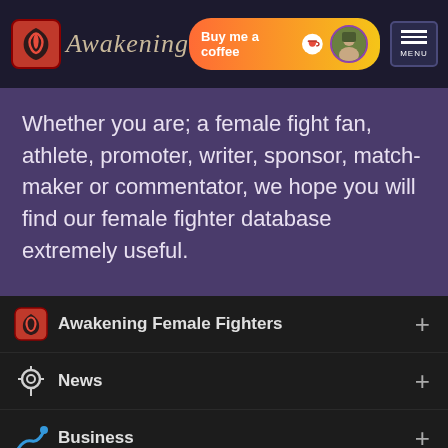Awakening — Buy me a coffee — MENU
Whether you are; a female fight fan, athlete, promoter, writer, sponsor, match-maker or commentator, we hope you will find our female fighter database extremely useful.
Awakening Female Fighters +
News +
Business +
Awakepedia +
[Figure (other): Social media icons row: Instagram, Facebook, Twitter, Pinterest, YouTube]